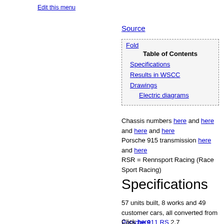Edit this menu
Source
| Fold |
| Table of Contents |
| Specifications |
| Results in WSCC |
| Drawings |
| Electric diagrams |
Chassis numbers here and here and here and here
Porsche 915 transmission here and here
RSR = Rennsport Racing (Race Sport Racing)
Specifications
57 units built, 8 works and 49 customer cars, all converted from Porsche 911 RS 2.7
Click here
Click here and here and here